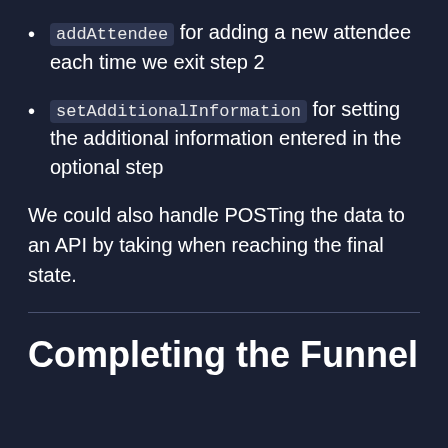addAttendee for adding a new attendee each time we exit step 2
setAdditionalInformation for setting the additional information entered in the optional step
We could also handle POSTing the data to an API by taking when reaching the final state.
Completing the Funnel